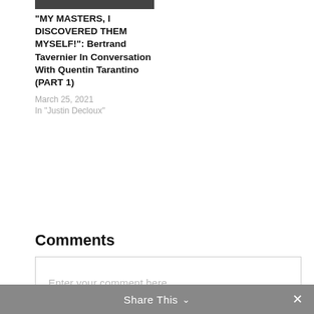[Figure (photo): Partial black and white photograph at the top of the article card]
“MY MASTERS, I DISCOVERED THEM MYSELF!”: Bertrand Tavernier In Conversation With Quentin Tarantino (PART 1)
March 25, 2021
In “Justin Decloux”
Comments
Enter your comment here...
Share This